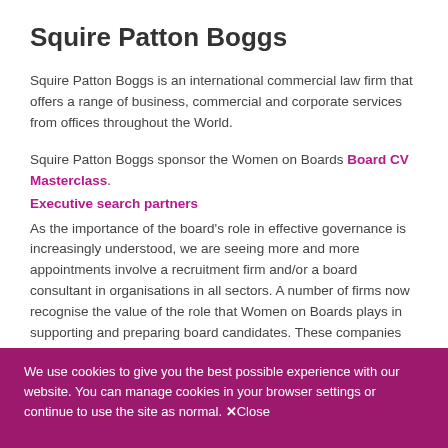Squire Patton Boggs
Squire Patton Boggs is an international commercial law firm that offers a range of business, commercial and corporate services from offices throughout the World.
Squire Patton Boggs sponsor the Women on Boards Board CV Masterclass.
Executive search partners
As the importance of the board's role in effective governance is increasingly understood, we are seeing more and more appointments involve a recruitment firm and/or a board consultant in organisations in all sectors.  A number of firms now recognise the value of the role that Women on Boards plays in supporting and preparing board candidates.  These companies are therefore prepared to play their part in supporting us financially or by giving our members significant
We use cookies to give you the best possible experience with our website. You can manage cookies in your browser settings or continue to use the site as normal. ✕Close